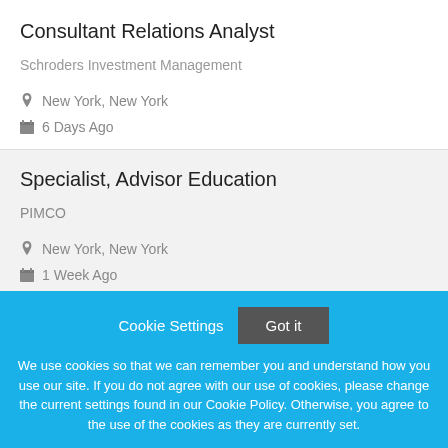Consultant Relations Analyst
Schroders Investment Management
New York, New York
6 Days Ago
Specialist, Advisor Education
PIMCO
New York, New York
1 Week Ago
Cookie Settings
Got it
We use cookies so that we can remember you and understand how you use our site. If you do not agree with our use of cookies, please change the current settings found in our Cookie Policy. Otherwise, you agree to the use of the cookies as they are currently set.